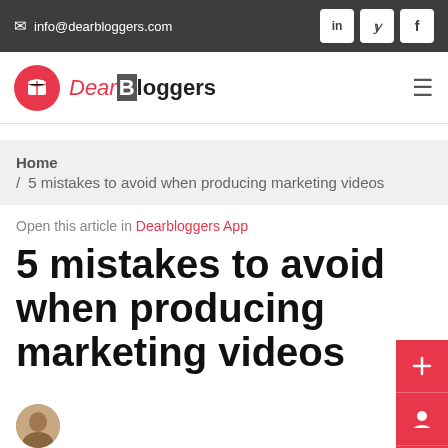info@dearbloggers.com
[Figure (logo): DearBloggers logo with pink circle and book icon]
Home / 5 mistakes to avoid when producing marketing videos
Open this article in Dearbloggers App
5 mistakes to avoid when producing marketing videos
[Figure (photo): Author avatar - circular photo of a man]